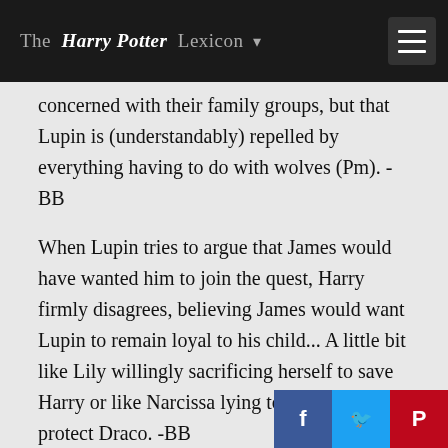The Harry Potter Lexicon
concerned with their family groups, but that Lupin is (understandably) repelled by everything having to do with wolves (Pm). -BB
When Lupin tries to argue that James would have wanted him to join the quest, Harry firmly disagrees, believing James would want Lupin to remain loyal to his child... A little bit like Lily willingly sacrificing herself to save Harry or like Narcissa lying to Voldemort to protect Draco. -BB
The fact that Lupin thinks his child would be ashamed of him is a testament to the in...